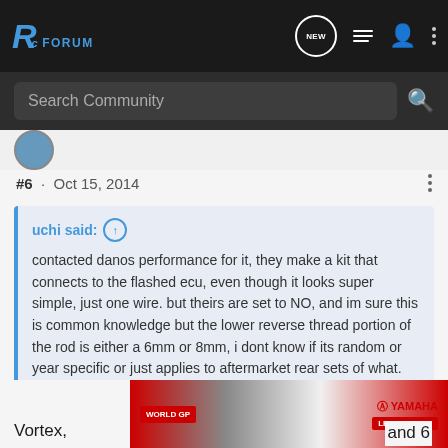RC FORUM
Search Community
#6 · Oct 15, 2014
uchi said: ↑
contacted danos performance for it, they make a kit that connects to the flashed ecu, even though it looks super simple, just one wire. but theirs are set to NO, and im sure this is common knowledge but the lower reverse thread portion of the rod is either a 6mm or 8mm, i dont know if its random or year specific or just applies to aftermarket rear sets of what.
What rearsets do you have? Sato, Rizoma and some other use 6mm on the shifter end of the shift rod.
Vortex, and 6